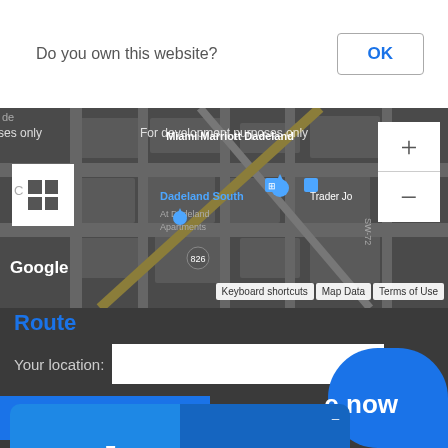[Figure (screenshot): Dialog box with text 'Do you own this website?' and an OK button]
[Figure (map): Google Maps view showing Dadeland South area in Miami with 'For development purposes only' watermark, grid/layer toggle button, zoom +/- controls, Google branding, and Keyboard shortcuts / Map Data / Terms of Use footer buttons]
Route
Your location:
[Figure (screenshot): Offline chat widget with sleeping face emoji, 'We're offline' text, and 'Leave a message' link. Also partial blue chat bubble with 'e now' text visible at bottom right.]